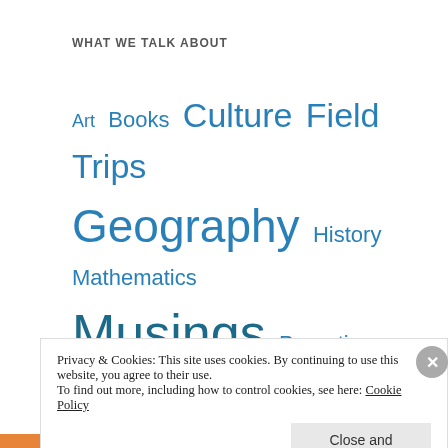WHAT WE TALK ABOUT
Art  Books  Culture  Field Trips  Geography  History  Mathematics  Musings  Parenting Style  Resources
[Figure (other): Orange 'Buy me a coffee' button with coffee cup icon]
Privacy & Cookies: This site uses cookies. By continuing to use this website, you agree to their use.
To find out more, including how to control cookies, see here: Cookie Policy
Close and accept